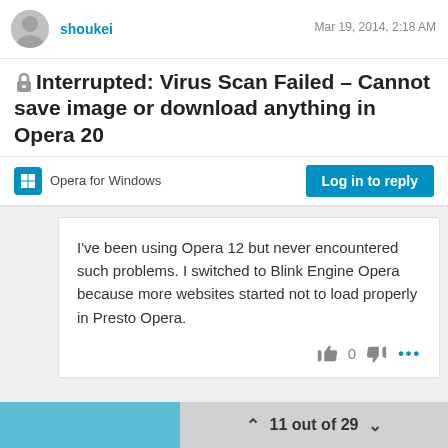shoukei    Mar 19, 2014, 2:18 AM
🔒Interrupted: Virus Scan Failed – Cannot save image or download anything in Opera 20
Opera for Windows
Log in to reply
I've been using Opera 12 but never encountered such problems. I switched to Blink Engine Opera because more websites started not to load properly in Presto Opera.
11 out of 29